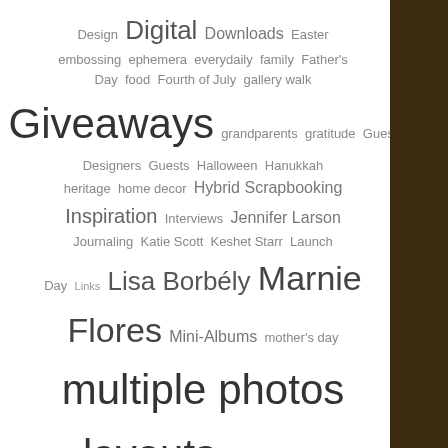[Figure (other): Tag cloud / word cloud showing blog categories and tags in varying font sizes indicating frequency. Tags include: Design, Digital, Downloads, Easter, embossing, ephemera, everydaily, family, Father's Day, food, Fourth of July, gallery walk, Giveaways, grandparents, gratitude, Guest Designers, Guests, Halloween, Hanukkah, heritage, home decor, Hybrid Scrapbooking, Inspiration, Interviews, Jennifer Larson, Journaling, Katie Scott, Keshet Starr, Launch Day, Links, Lisa Borbély, Marnie Flores, Mini-Albums, mother's day, multiple photos layouts, Organization, our favorites, pets, Photobooks, Photography, Photoshop, pinterest, Printables, Products, Project Life, resolutions, school, scrapbook., Shopping, silhouette, single photo layouts, sisters, sketches, sneak peeks, sports, stamping, stitching/sewing, summer, Sunday Photo + Words, tags, teacher appreciation, teens, thanksgiving, titles, Tools, travel, trends, tutorials, valentine's day, Valerie O'Neall, WCS For the Holidays, WCS News, weddings, winter, Write., yearly review]
[Figure (photo): Dark brown/amber toned sidebar image on the right edge of the page, appears to be a decorative or ambient photo element.]